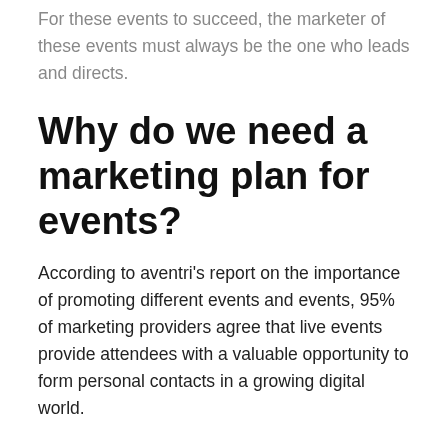For these events to succeed, the marketer of these events must always be the one who leads and directs.
Why do we need a marketing plan for events?
According to aventri’s report on the importance of promoting different events and events, 95% of marketing providers agree that live events provide attendees with a valuable opportunity to form personal contacts in a growing digital world.